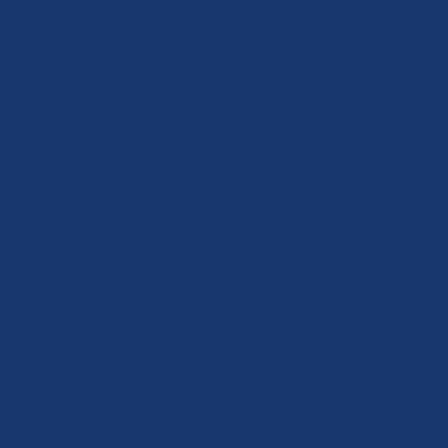[Figure (other): Dark navy blue background page with a vertical strip/column near the right-center containing white text rendered letter-by-letter vertically, reading 'itself of its residual acceptance of' — appears to be a decorative or section-divider page from an insurance document.]